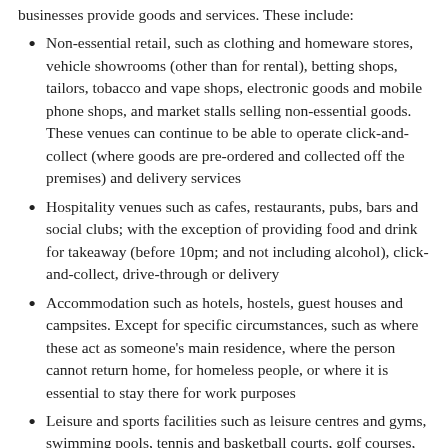businesses provide goods and services. These include:
Non-essential retail, such as clothing and homeware stores, vehicle showrooms (other than for rental), betting shops, tailors, tobacco and vape shops, electronic goods and mobile phone shops, and market stalls selling non-essential goods. These venues can continue to be able to operate click-and-collect (where goods are pre-ordered and collected off the premises) and delivery services
Hospitality venues such as cafes, restaurants, pubs, bars and social clubs; with the exception of providing food and drink for takeaway (before 10pm; and not including alcohol), click-and-collect, drive-through or delivery
Accommodation such as hotels, hostels, guest houses and campsites. Except for specific circumstances, such as where these act as someone's main residence, where the person cannot return home, for homeless people, or where it is essential to stay there for work purposes
Leisure and sports facilities such as leisure centres and gyms, swimming pools, tennis and basketball courts, golf courses, fitness and dance studios, climbing walls, archery,